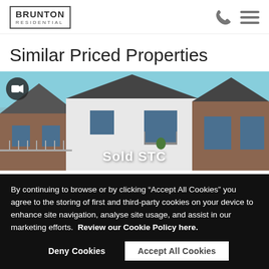BRUNTON RESIDENTIAL
Similar Priced Properties
[Figure (photo): Exterior photo of modern residential properties with pitched roofs, grey tiles, white render and brick facades under a blue sky. A camera/video icon is overlaid top-left. 'Sold STC' text is overlaid at the bottom center.]
By continuing to browse or by clicking “Accept All Cookies” you agree to the storing of first and third-party cookies on your device to enhance site navigation, analyse site usage, and assist in our marketing efforts.  Review our Cookie Policy here.
Deny Cookies   Accept All Cookies